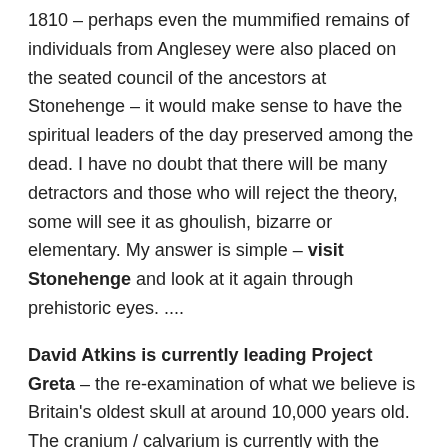1810 – perhaps even the mummified remains of individuals from Anglesey were also placed on the seated council of the ancestors at Stonehenge – it would make sense to have the spiritual leaders of the day preserved among the dead. I have no doubt that there will be many detractors and those who will reject the theory, some will see it as ghoulish, bizarre or elementary. My answer is simple – visit Stonehenge and look at it again through prehistoric eyes. ....
David Atkins is currently leading Project Greta – the re-examination of what we believe is Britain's oldest skull at around 10,000 years old. The cranium / calvarium is currently with the Francis Crick Institute in London . As part of his wider research he was able to clarify what he thinks was the original purpose of Stonehenge. David would like see what people think of the Council of the